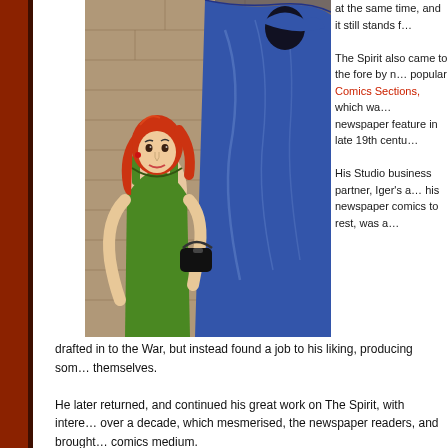[Figure (illustration): Comic art illustration showing a woman with red hair in a green dress and a figure in a blue cloak, set against a stone background]
at the same time, and it still stands f...
The Spirit also came to the fore by n... popular Comics Sections, which wa... newspaper feature in late 19th centu...
His Studio business partner, Iger's a... his newspaper comics to rest, was a... drafted in to the War, but instead found a job to his liking, producing som... themselves.
He later returned, and continued his great work on The Spirit, with intere... over a decade, which mesmerised, the newspaper readers, and brought... comics medium.
[Figure (illustration): Book cover of 'A Contract With God And Other Tenement Stories' - A Graphic Novel by Will Eisner, showing dark imagery with figures in rain]
In 1978, Eisner came back with his first G... term which he helped to popularize, with... God. It was a path-breaking issue, which... as the pioneer of Graphic Novel.
In 1991, Eisner wrote one another critica... autobiography, where he reflected over t... perspective, in To The Heart Of The Sto...
We can go on and on with detailing all hi...